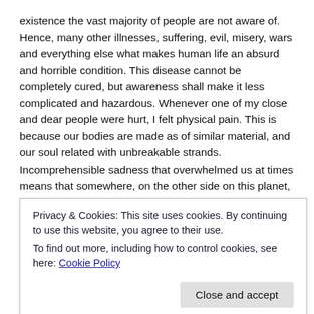existence the vast majority of people are not aware of. Hence, many other illnesses, suffering, evil, misery, wars and everything else what makes human life an absurd and horrible condition. This disease cannot be completely cured, but awareness shall make it less complicated and hazardous. Whenever one of my close and dear people were hurt, I felt physical pain. This is because our bodies are made as of similar material, and our soul related with unbreakable strands. Incomprehensible sadness that overwhelmed us at times means that somewhere, on the other side on this planet, a child or generous man died.
The entire Universe is in certain periods sick of itself, and of us. Disappearance of a star and the appearance of comets affect us
Privacy & Cookies: This site uses cookies. By continuing to use this website, you agree to their use.
To find out more, including how to control cookies, see here: Cookie Policy
These truths we must learn in order to be healed. Remedy is in